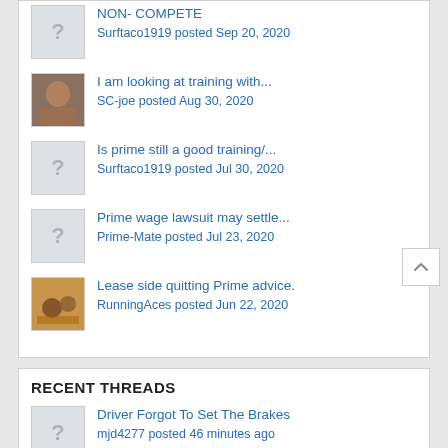NON- COMPETE
Surftaco1919 posted Sep 20, 2020
I am looking at training with...
SC-joe posted Aug 30, 2020
Is prime still a good training/...
Surftaco1919 posted Jul 30, 2020
Prime wage lawsuit may settle...
Prime-Mate posted Jul 23, 2020
Lease side quitting Prime advice.
RunningAces posted Jun 22, 2020
RECENT THREADS
Driver Forgot To Set The Brakes
mjd4277 posted 46 minutes ago
Legal/Regulatory - Relocating...
BigRed&Blue posted Yesterday at 7:13 PM
I'm having trouble finding...